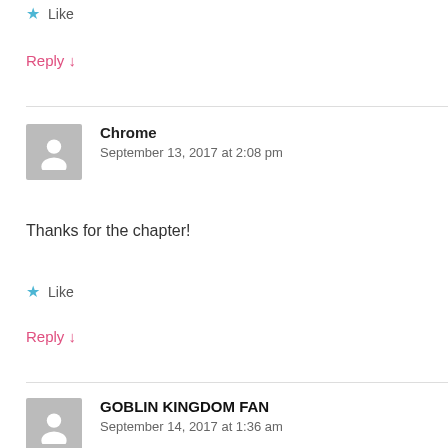★ Like
Reply ↓
Chrome
September 13, 2017 at 2:08 pm
Thanks for the chapter!
★ Like
Reply ↓
GOBLIN KINGDOM FAN
September 14, 2017 at 1:36 am